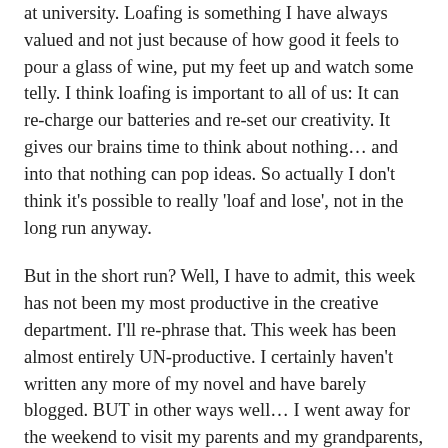at university. Loafing is something I have always valued and not just because of how good it feels to pour a glass of wine, put my feet up and watch some telly. I think loafing is important to all of us: It can re-charge our batteries and re-set our creativity. It gives our brains time to think about nothing… and into that nothing can pop ideas. So actually I don't think it's possible to really 'loaf and lose', not in the long run anyway.
But in the short run? Well, I have to admit, this week has not been my most productive in the creative department. I'll re-phrase that. This week has been almost entirely UN-productive. I certainly haven't written any more of my novel and have barely blogged. BUT in other ways well… I went away for the weekend to visit my parents and my grandparents, took my sons to a family fun day, caught up with a couple of friends I hadn't seen in a while, had a night at the pub with some other close friends, finished making a photo book for my sons (which they will love) about our